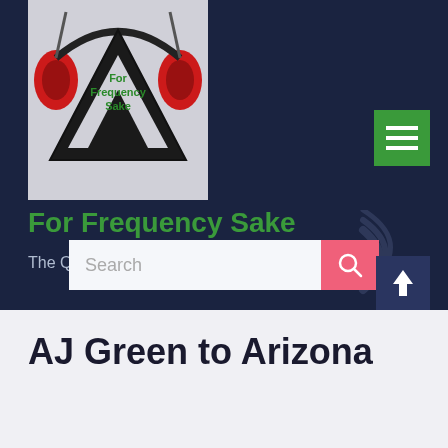[Figure (logo): For Frequency Sake podcast logo: black triangle shape with red headphones and green text 'For Frequency Sake' on grey background]
For Frequency Sake
The Quad Cities home for great sports talk
[Figure (other): Green hamburger menu button (three white horizontal lines on green square background)]
[Figure (other): Search bar with pink/red search button and magnifying glass icon]
[Figure (other): Scroll-to-top button with upward arrow on dark navy background]
AJ Green to Arizona